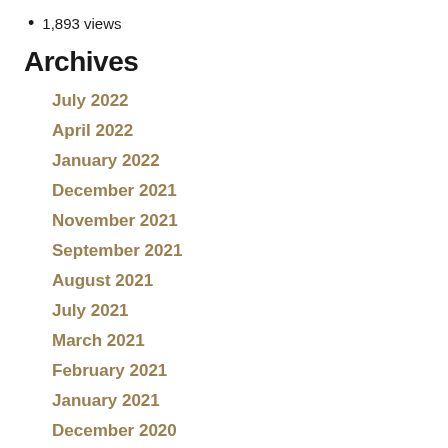1,893 views
Archives
July 2022
April 2022
January 2022
December 2021
November 2021
September 2021
August 2021
July 2021
March 2021
February 2021
January 2021
December 2020
November 2020